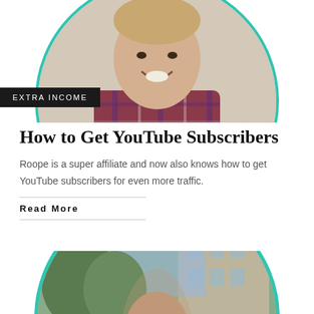[Figure (photo): Circular framed portrait photo of a smiling man in a plaid shirt, with a teal circle border, partially cropped at top]
EXTRA INCOME
How to Get YouTube Subscribers
Roope is a super affiliate and now also knows how to get YouTube subscribers for even more traffic.
Read More
[Figure (photo): Circular framed photo of a woman with long brown hair standing outdoors near a building, with a teal circle border, partially cropped at bottom]